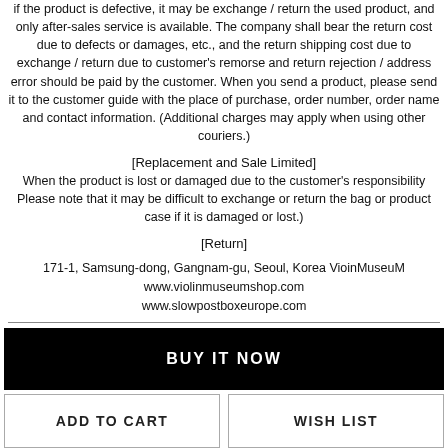if the product is defective, it may be exchange / return the used product, and only after-sales service is available. The company shall bear the return cost due to defects or damages, etc., and the return shipping cost due to exchange / return due to customer's remorse and return rejection / address error should be paid by the customer. When you send a product, please send it to the customer guide with the place of purchase, order number, order name and contact information. (Additional charges may apply when using other couriers.)
[Replacement and Sale Limited]
When the product is lost or damaged due to the customer's responsibility Please note that it may be difficult to exchange or return the bag or product case if it is damaged or lost.)
[Return]
171-1, Samsung-dong, Gangnam-gu, Seoul, Korea VioinMuseuM
www.violinmuseumshop.com
www.slowpostboxeurope.com
BUY IT NOW
ADD TO CART
WISH LIST